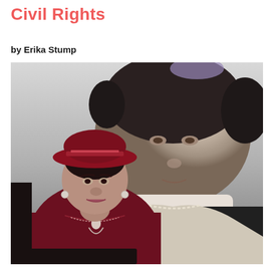Civil Rights
by Erika Stump
[Figure (photo): An elderly woman in a dark red/maroon outfit and matching wide-brimmed hat stands in front of a large black-and-white portrait photograph of a younger woman. The elderly woman is looking slightly upward and to the side. The background shows a blown-up historical black-and-white photo of a woman's face and upper body.]